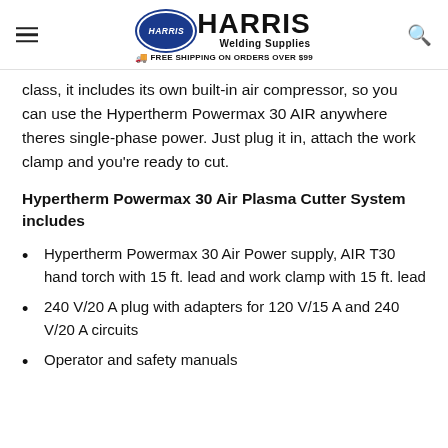Harris Welding Supplies — FREE SHIPPING ON ORDERS OVER $99
class, it includes its own built-in air compressor, so you can use the Hypertherm Powermax 30 AIR anywhere theres single-phase power. Just plug it in, attach the work clamp and you're ready to cut.
Hypertherm Powermax 30 Air Plasma Cutter System includes
Hypertherm Powermax 30 Air Power supply, AIR T30 hand torch with 15 ft. lead and work clamp with 15 ft. lead
240 V/20 A plug with adapters for 120 V/15 A and 240 V/20 A circuits
Operator and safety manuals